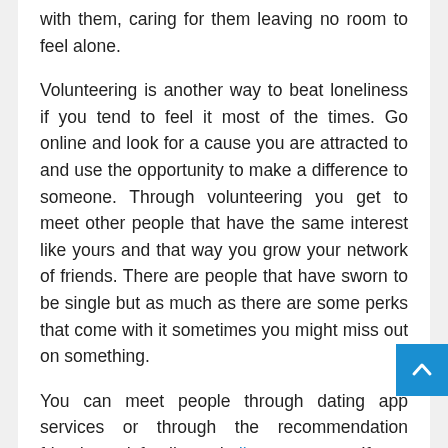with them, caring for them leaving no room to feel alone.
Volunteering is another way to beat loneliness if you tend to feel it most of the times. Go online and look for a cause you are attracted to and use the opportunity to make a difference to someone. Through volunteering you get to meet other people that have the same interest like yours and that way you grow your network of friends. There are people that have sworn to be single but as much as there are some perks that come with it sometimes you might miss out on something.
You can meet people through dating app services or through the recommendation friends and family and discover more. If you are lucky enough to find someone that you have